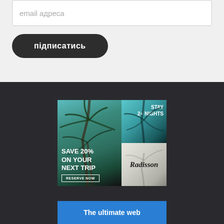email адреса
підписатись
[Figure (infographic): Radisson hotel advertisement: left panel shows palm trees with text 'SAVE 20% ON YOUR NEXT TRIP' and 'RESERVE NOW' button; top-right panel shows palm trees with 'STAY 2+ NIGHTS' text; bottom-right panel shows Radisson logo on light background.]
The ultimate web